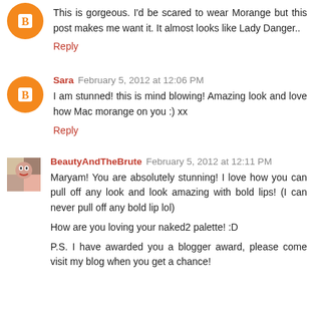This is gorgeous. I'd be scared to wear Morange but this post makes me want it. It almost looks like Lady Danger..
Reply
Sara  February 5, 2012 at 12:06 PM
I am stunned! this is mind blowing! Amazing look and love how Mac morange on you :) xx
Reply
BeautyAndTheBrute  February 5, 2012 at 12:11 PM
Maryam! You are absolutely stunning! I love how you can pull off any look and look amazing with bold lips! (I can never pull off any bold lip lol)
How are you loving your naked2 palette! :D
P.S. I have awarded you a blogger award, please come visit my blog when you get a chance!